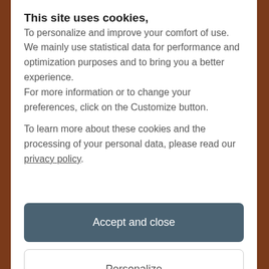This site uses cookies,
To personalize and improve your comfort of use. We mainly use statistical data for performance and optimization purposes and to bring you a better experience.
For more information or to change your preferences, click on the Customize button.

To learn more about these cookies and the processing of your personal data, please read our privacy policy.
Accept and close
Personalize